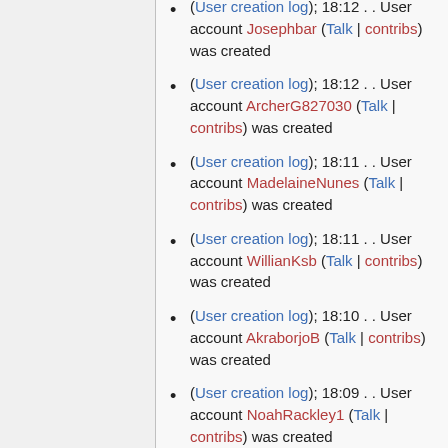(User creation log); 18:12 . . User account Josephbar (Talk | contribs) was created
(User creation log); 18:12 . . User account ArcherG827030 (Talk | contribs) was created
(User creation log); 18:11 . . User account MadelaineNunes (Talk | contribs) was created
(User creation log); 18:11 . . User account WillianKsb (Talk | contribs) was created
(User creation log); 18:10 . . User account AkraborjoB (Talk | contribs) was created
(User creation log); 18:09 . . User account NoahRackley1 (Talk | contribs) was created
(User creation log); 18:09 . . User account SanchoOxync (Talk |